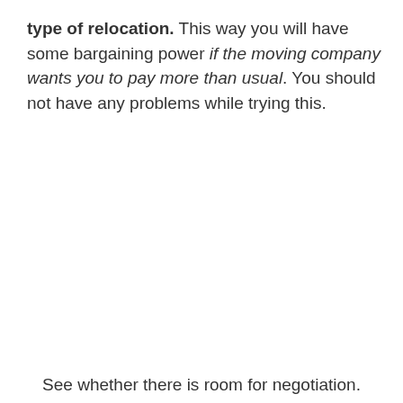type of relocation. This way you will have some bargaining power if the moving company wants you to pay more than usual. You should not have any problems while trying this.
See whether there is room for negotiation.